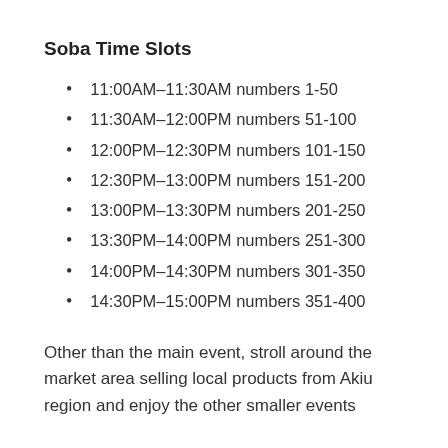Soba Time Slots
11:00AM–11:30AM numbers 1-50
11:30AM–12:00PM numbers 51-100
12:00PM–12:30PM numbers 101-150
12:30PM–13:00PM numbers 151-200
13:00PM–13:30PM numbers 201-250
13:30PM–14:00PM numbers 251-300
14:00PM–14:30PM numbers 301-350
14:30PM–15:00PM numbers 351-400
Other than the main event, stroll around the market area selling local products from Akiu region and enjoy the other smaller events